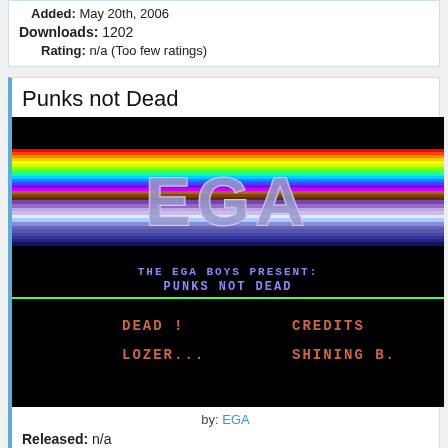Added: May 20th, 2006
Downloads: 1202
Rating: n/a (Too few ratings)
Punks not Dead
[Figure (screenshot): A retro EGA-style game title screen on black background. Rainbow horizontal stripes with large '3D' styled letters 'EGA' in the center. Below reads 'THE EGA BOYS PRESENT: PUNKS NOT DEAD' with a green divider line and credits menu showing 'DEAD !' and 'CREDITS' on one row, 'LOZER...' and 'SHINING B.' on the next row.]
by: EGA
Released: n/a
Added: May 20th, 2006